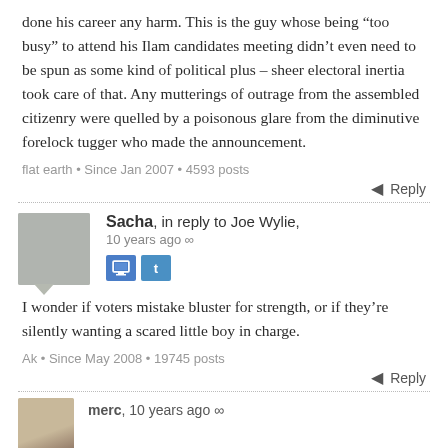done his career any harm. This is the guy whose being “too busy” to attend his Ilam candidates meeting didn’t even need to be spun as some kind of political plus – sheer electoral inertia took care of that. Any mutterings of outrage from the assembled citizenry were quelled by a poisonous glare from the diminutive forelock tugger who made the announcement.
flat earth • Since Jan 2007 • 4593 posts
Reply
Sacha, in reply to Joe Wylie, 10 years ago ∞
I wonder if voters mistake bluster for strength, or if they’re silently wanting a scared little boy in charge.
Ak • Since May 2008 • 19745 posts
Reply
merc, 10 years ago ∞